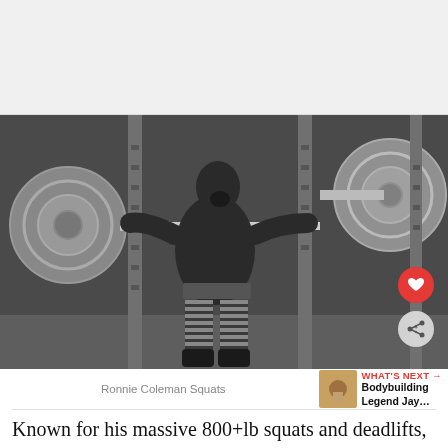[Figure (photo): Blank gray advertisement area at the top of the page]
[Figure (photo): Black and white photo of Ronnie Coleman performing a heavy barbell squat in a gym, wearing striped knee wraps and lifting boots, with two weight-loaded squat rack stations visible]
Ronnie Coleman Squats
Known for his massive 800+lb squats and deadlifts,